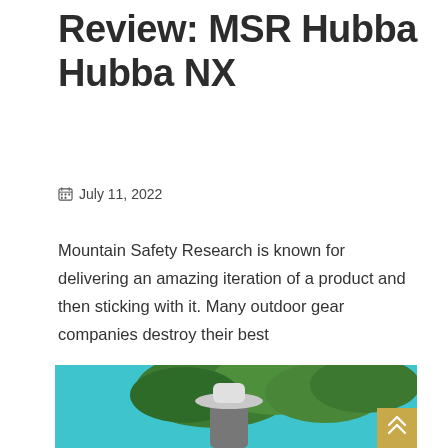Review: MSR Hubba Hubba NX
July 11, 2022
Mountain Safety Research is known for delivering an amazing iteration of a product and then sticking with it. Many outdoor gear companies destroy their best
Read More
[Figure (photo): Outdoor scene with teal/turquoise background, green foliage, and a person wearing a hat in the foreground]